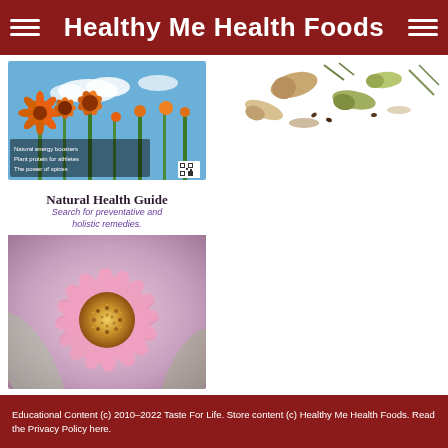Healthy Me Health Foods
[Figure (photo): Photo of orange wildflowers against a blue sky, with small text overlay about natural energy boosters, plant protein for athletes, and the power of spices. Small QR code in bottom right corner.]
[Figure (photo): Natural Health Guide promotional card. White text area at top reads 'Natural Health Guide' and 'Search for preventative and holistic remedies.' Below is a close-up photo of a pink echinacea/coneflower bloom with a golden center.]
[Figure (photo): Partial photo of various supplement capsules and herbs/spices on a white background, visible in the upper right area of the page.]
Educational Content (c) 2010-2022 Taste For Life. Store content (c) Healthy Me Health Foods. Read the Privacy Policy here.